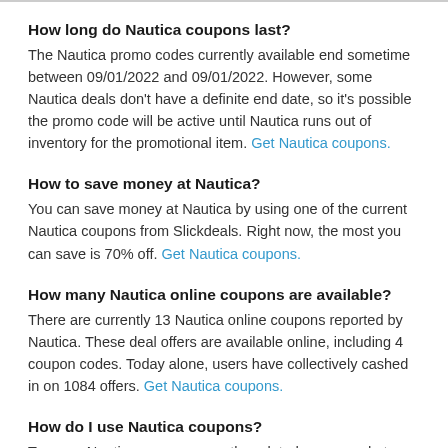How long do Nautica coupons last?
The Nautica promo codes currently available end sometime between 09/01/2022 and 09/01/2022. However, some Nautica deals don't have a definite end date, so it's possible the promo code will be active until Nautica runs out of inventory for the promotional item. Get Nautica coupons.
How to save money at Nautica?
You can save money at Nautica by using one of the current Nautica coupons from Slickdeals. Right now, the most you can save is 70% off. Get Nautica coupons.
How many Nautica online coupons are available?
There are currently 13 Nautica online coupons reported by Nautica. These deal offers are available online, including 4 coupon codes. Today alone, users have collectively cashed in on 1084 offers. Get Nautica coupons.
How do I use Nautica coupons?
To use a Nautica coupon, copy the related promo code to